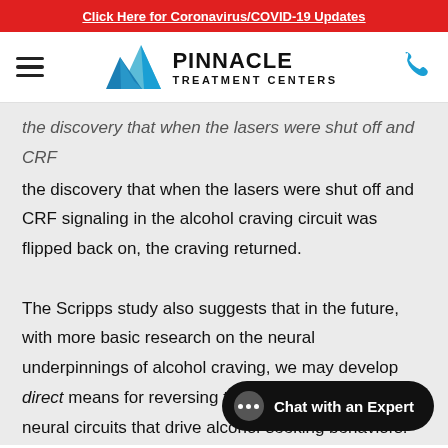Click Here for Coronavirus/COVID-19 Updates
[Figure (logo): Pinnacle Treatment Centers logo with mountain graphic]
the discovery that when the lasers were shut off and CRF signaling in the alcohol craving circuit was flipped back on, the craving returned.
The Scripps study also suggests that in the future, with more basic research on the neural underpinnings of alcohol craving, we may develop direct means for reversing the powerfully reinforced neural circuits that drive alcohol-seeking behaviors.